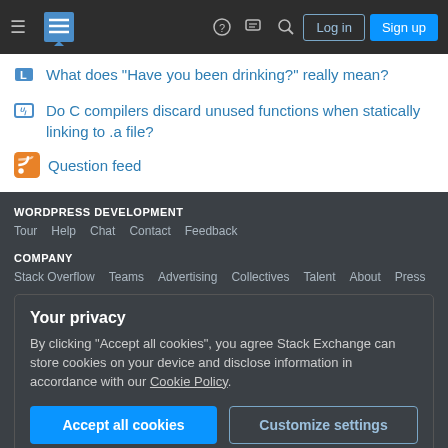Navigation bar with hamburger menu, Stack Exchange logo, help, chat, search icons, Log in and Sign up buttons
What does "Have you been drinking?" really mean?
Do C compilers discard unused functions when statically linking to .a file?
Question feed
WORDPRESS DEVELOPMENT
Tour   Help   Chat   Contact   Feedback
COMPANY
Stack Overflow   Teams   Advertising   Collectives   Talent   About   Press
Your privacy
By clicking "Accept all cookies", you agree Stack Exchange can store cookies on your device and disclose information in accordance with our Cookie Policy.
Accept all cookies   Customize settings
Blog   Facebook   Twitter   LinkedIn   Instagram